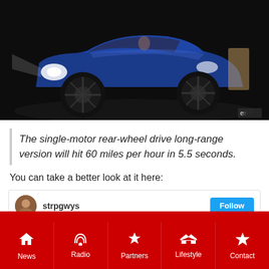[Figure (photo): Blue Tesla Model Y electric car on dark stage background with bright headlights, shot from front-left angle. Engadget watermark visible in lower right corner.]
The single-motor rear-wheel drive long-range version will hit 60 miles per hour in 5.5 seconds.
You can take a better look at it here:
[Figure (screenshot): Embedded social media card showing user handle 'strpgwys' with avatar and a blue follow button]
News | Radio | Partners | Lifestyle | Contact